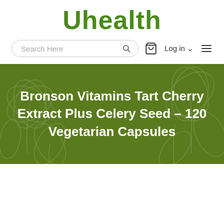Uhealth
[Figure (screenshot): Navigation bar with search box labeled 'Search Here', search icon, shopping bag icon, 'Log in' with dropdown arrow, and hamburger menu icon]
Bronson Vitamins Tart Cherry Extract Plus Celery Seed - 120 Vegetarian Capsules